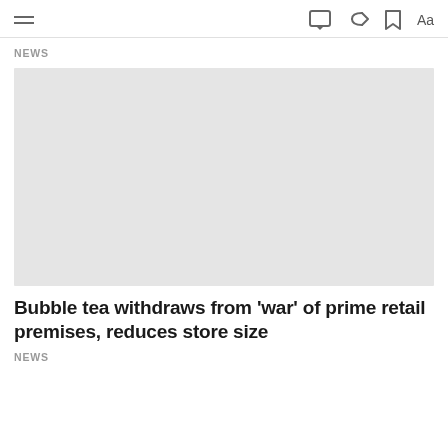NEWS
[Figure (photo): Large placeholder image area (light gray rectangle)]
Bubble tea withdraws from 'war' of prime retail premises, reduces store size
NEWS